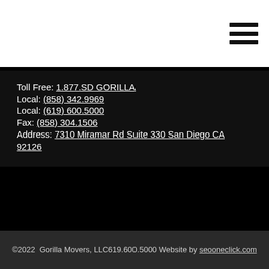[Figure (other): Hamburger menu icon (three horizontal lines) in top right corner of white header bar]
Toll Free: 1.877.SD GORILLA
Local: (858) 342.9969
Local: (619) 600.5000
Fax: (858) 304.1506
Address: 7310 Miramar Rd Suite 330 San Diego CA 92126
©2022  Gorilla Movers, LLC619.600.5000 Website by seooneclick.com